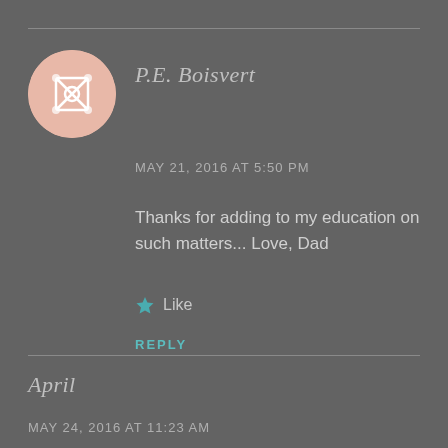[Figure (illustration): Round avatar icon with pink/salmon background showing a decorative diamond/cross pattern in white]
P.E. Boisvert
MAY 21, 2016 AT 5:50 PM
Thanks for adding to my education on such matters... Love, Dad
★ Like
REPLY
April
MAY 24, 2016 AT 11:23 AM